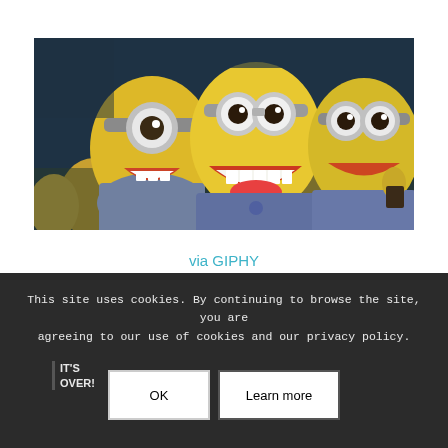[Figure (photo): Screenshot of animated Minions characters from Despicable Me — three yellow minions with goggles, laughing and cheering, seated in a large group setting with a dark background]
via GIPHY
This site uses cookies. By continuing to browse the site, you are agreeing to our use of cookies and our privacy policy.
IT'S OVER!